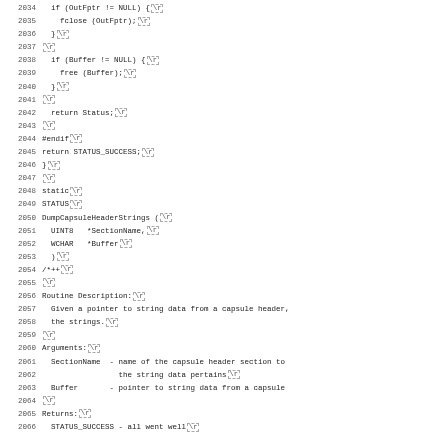Source code listing lines 2034-2066, C programming language file showing DumpCapsuleHeaderStrings function definition and documentation comments